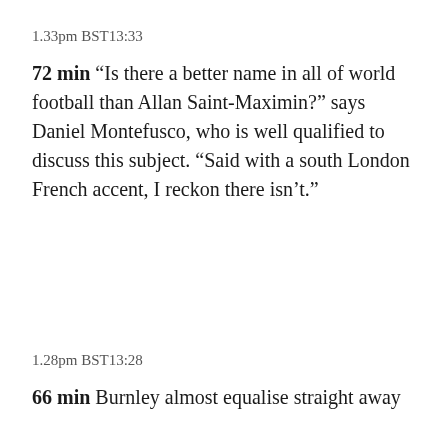1.33pm BST13:33
72 min “Is there a better name in all of world football than Allan Saint-Maximin?” says Daniel Montefusco, who is well qualified to discuss this subject. “Said with a south London French accent, I reckon there isn’t.”
1.28pm BST13:28
66 min Burnley almost equalise straight away